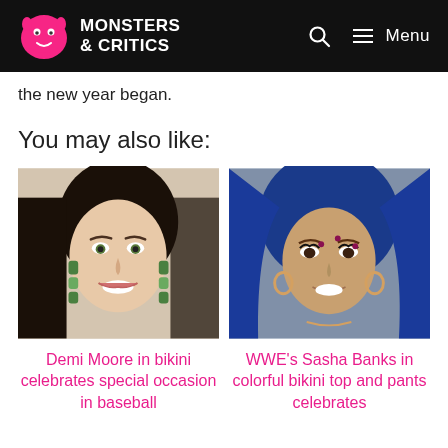Monsters & Critics
the new year began.
You may also like:
[Figure (photo): Headshot of Demi Moore smiling, wearing green gemstone drop earrings]
[Figure (photo): Headshot of WWE's Sasha Banks with blue wavy hair, dramatic makeup with face gems, smiling]
Demi Moore in bikini celebrates special occasion in baseball
WWE's Sasha Banks in colorful bikini top and pants celebrates